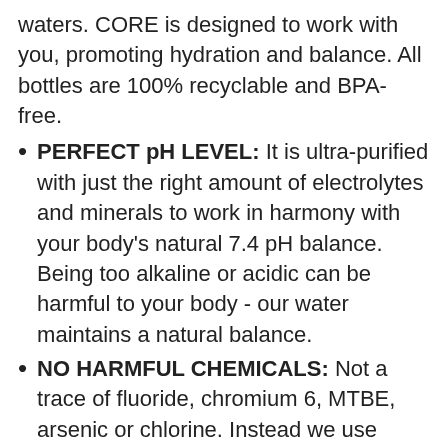waters. CORE is designed to work with you, promoting hydration and balance. All bottles are 100% recyclable and BPA-free.
PERFECT pH LEVEL: It is ultra-purified with just the right amount of electrolytes and minerals to work in harmony with your body's natural 7.4 pH balance. Being too alkaline or acidic can be harmful to your body - our water maintains a natural balance.
NO HARMFUL CHEMICALS: Not a trace of fluoride, chromium 6, MTBE, arsenic or chlorine. Instead we use proven electrolyte and mineral support; reverse osmosis water, calcium chloride, magnesium chloride, and potassium bicarbonate for taste and hydration
VERSATILE BOTTLE: The bottle is envisioned with your lifestyle in mind—the contoured silhouette makes it comfortable to hold when